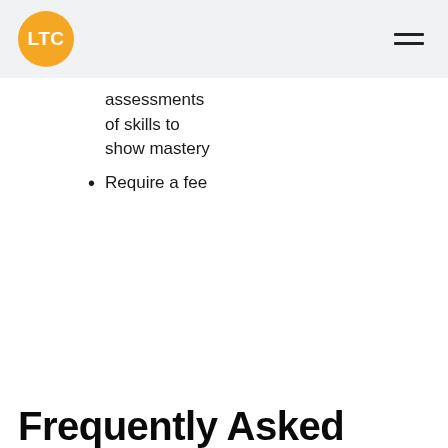LTC
assessments of skills to show mastery
Require a fee
Frequently Asked